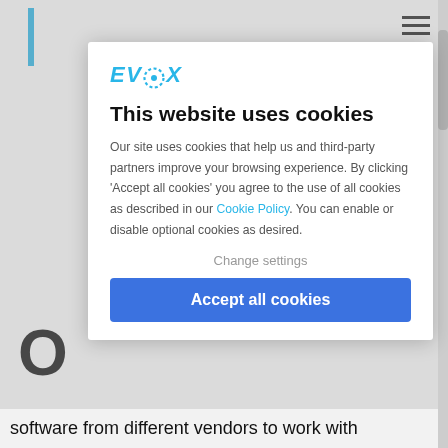[Figure (screenshot): EVBox website cookie consent modal dialog overlaying a partially visible webpage. The modal shows the EVBox logo, a title 'This website uses cookies', explanatory text about cookie usage with a Cookie Policy link, a 'Change settings' option, and an 'Accept all cookies' button. Behind the modal, partial text of the underlying webpage is visible including large letters 'O', 'Al', 'in', 'fo', 'Au', '15', 'le', 'EV' on the left, and the bottom text 'software from different vendors to work with'. A hamburger menu icon is visible top right and a blue vertical bar top left.]